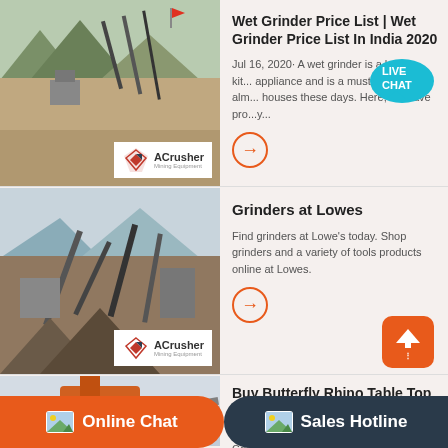[Figure (photo): Mining/quarry machinery site with conveyor equipment, mountains in background, ACrusher logo overlay]
Wet Grinder Price List | Wet Grinder Price List In India 2020
Jul 16, 2020· A wet grinder is a handy kitchen appliance and is a must-have in almost all Indian houses these days. Here, we have pro...
[Figure (photo): Mining site with conveyor belts and crushing equipment, ACrusher logo overlay]
Grinders at Lowes
Find grinders at Lowe's today. Shop grinders and a variety of tools products online at Lowes.
[Figure (photo): Industrial orange machinery/conveyor at mining site]
Buy Butterfly Rhino Table Top Wet Grinder, 2L (Cherry ...
Buy Butterfly Rhino 2 Litre Table Top Wet Grinder Online at Amazon India. The Butterfly Rh...